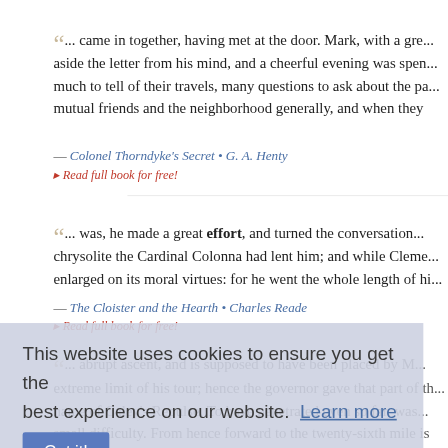... came in together, having met at the door. Mark, with a gre... aside the letter from his mind, and a cheerful evening was spen... much to tell of their travels, many questions to ask about the pa... mutual friends and the neighborhood generally, and when they
— Colonel Thorndyke's Secret • G. A. Henty
‣ Read full book for free!
... was, he made a great effort, and turned the conversation... chrysolite the Cardinal Colonna had lent him; and while Cleme... enlarged on its moral virtues: for he went the whole length of hi...
— The Cloister and the Hearth • Charles Reade
‣ Read full book for free!
... abrupt ascent, and is supposed to have been placed by M... extreme limit of his tour; hence the governor gave that part of t... name of Caley's Repulse. To have penetrated even so far, was... small difficulty. From hence forward to the twenty-sixth mile is a... steep and rugged hills, some of which are almost so abrupt as... passage altogether; but at this place a considerably extensi...
This website uses cookies to ensure you get the best experience on our website.  Learn more
Got it!